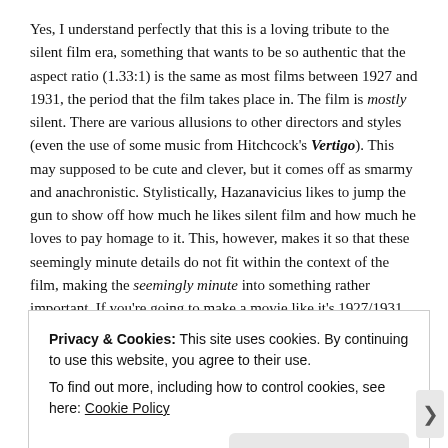Yes, I understand perfectly that this is a loving tribute to the silent film era, something that wants to be so authentic that the aspect ratio (1.33:1) is the same as most films between 1927 and 1931, the period that the film takes place in. The film is mostly silent. There are various allusions to other directors and styles (even the use of some music from Hitchcock's Vertigo). This may supposed to be cute and clever, but it comes off as smarmy and anachronistic. Stylistically, Hazanavicius likes to jump the gun to show off how much he likes silent film and how much he loves to pay homage to it. This, however, makes it so that these seemingly minute details do not fit within the context of the film, making the seemingly minute into something rather important. If you're going to make a movie like it's 1927/1931, don't fill it with pieces of style and content that came after it. Without
Privacy & Cookies: This site uses cookies. By continuing to use this website, you agree to their use.
To find out more, including how to control cookies, see here: Cookie Policy
Close and accept